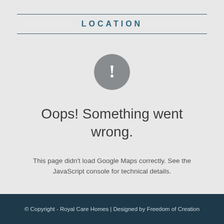LOCATION
[Figure (illustration): Gray circle with white exclamation mark error icon]
Oops! Something went wrong.
This page didn't load Google Maps correctly. See the JavaScript console for technical details.
© Copyright - Royal Care Homes | Designed by Freedom of Creation